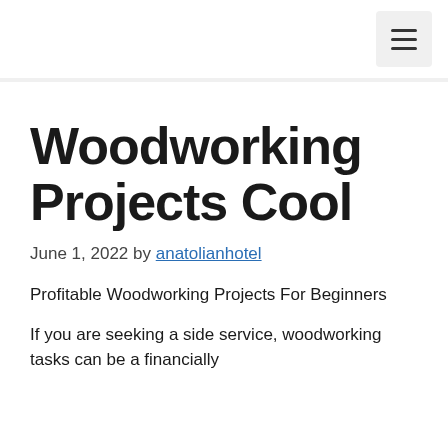≡
Woodworking Projects Cool
June 1, 2022 by anatolianhotel
Profitable Woodworking Projects For Beginners
If you are seeking a side service, woodworking tasks can be a financially